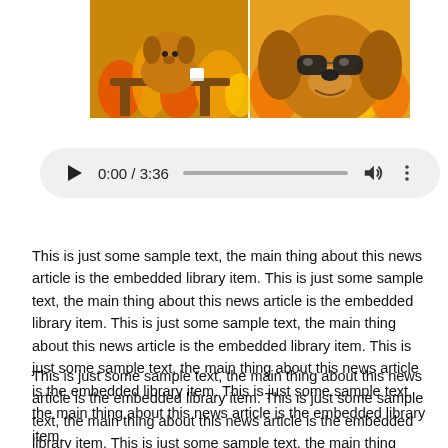[Figure (photo): A meme image showing two panels: a dog sitting calmly at a table while the room is on fire (left), and a close-up of the dog wearing sunglasses (right). This Fine meme.]
[Figure (other): An audio player widget showing play button, timestamp 0:00 / 3:36, a progress bar, volume icon, and more options icon, on a light gray rounded rectangle background.]
This is just some sample text, the main thing about this news article is the embedded library item. This is just some sample text, the main thing about this news article is the embedded library item. This is just some sample text, the main thing about this news article is the embedded library item. This is just some sample text, the main thing about this news article is the embedded library item. This is just some sample text, the main thing about this news article is the embedded library item.
This is just some sample text, the main thing about this news article is the embedded library item. This is just some sample text, the main thing about this news article is the embedded library item. This is just some sample text, the main thing about this news article is the embedded library item. This is just some sample text, the main thing about this news article is the embedded library item. This is just some sample text, the main thing about this news article is the embedded library item. This is just some sample text, the main thing about this news article is the embedded library item. This is just some sample text, the main thing about this news article is the embedded library item. This is just some sample text, the main thing about this news article is